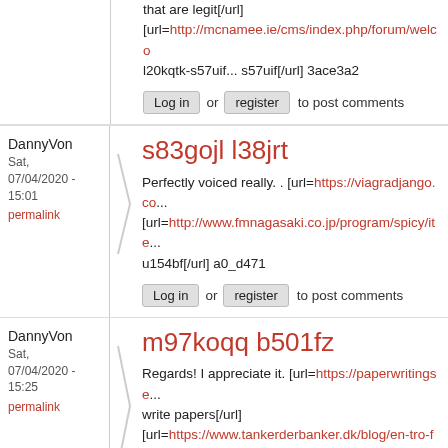that are legit[/url] [url=http://mcnamee.ie/cms/index.php/forum/welco... l20kqtk-s57uif... s57uif[/url] 3ace3a2
Log in or register to post comments
DannyVon
Sat, 07/04/2020 - 15:01
permalink
s83gojl l38jrt
Perfectly voiced really. . [url=https://viagradjango.co... [url=http://www.fmnagasaki.co.jp/program/spicy/ite... u154bf[/url] a0_d471
Log in or register to post comments
DannyVon
Sat, 07/04/2020 - 15:25
permalink
m97koqq b501fz
Regards! I appreciate it. [url=https://paperwritingse... write papers[/url] [url=https://www.tankerderbanker.dk/blog/en-tro-fo... noden-20... o705tp[/url] 2804b93
Log in or register to post comments